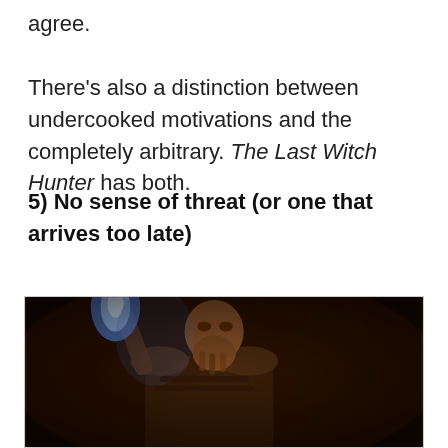agree.

There's also a distinction between undercooked motivations and the completely arbitrary. The Last Witch Hunter has both.
5) No sense of threat (or one that arrives too late)
[Figure (photo): A bearded warrior man in medieval armor holding a glowing blue flame torch or weapon aloft, photographed in dark dramatic lighting. Scene is from The Last Witch Hunter movie.]